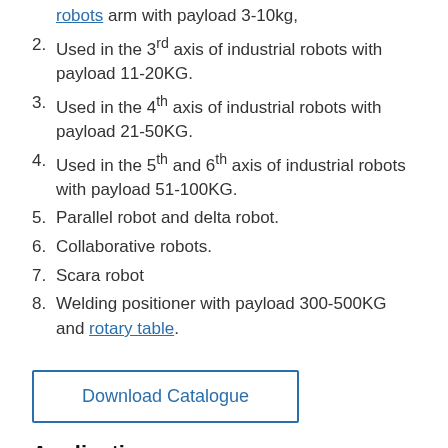robots arm with payload 3-10kg,
Used in the 3rd axis of industrial robots with payload 11-20KG.
Used in the 4th axis of industrial robots with payload 21-50KG.
Used in the 5th and 6th axis of industrial robots with payload 51-100KG.
Parallel robot and delta robot.
Collaborative robots.
Scara robot
Welding positioner with payload 300-500KG and rotary table.
Download Catalogue
Application